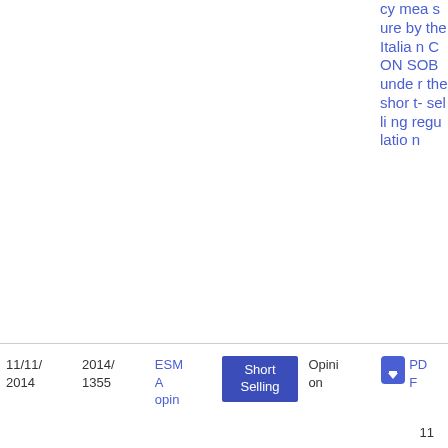cy measure by the Italian CONSOB under the short-selling regulation
11/11/2014 | 2014/1355 | ESMA opin... | Short Selling | Opinion | PDF | 11